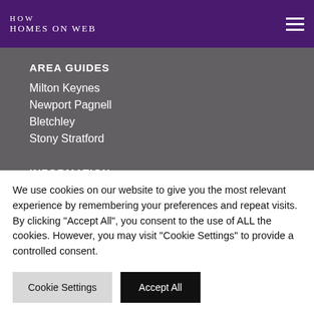HOW HOMES ON WEB
AREA GUIDES
Milton Keynes
Newport Pagnell
Bletchley
Stony Stratford
INFORMATION
Mortgages
Landlords
We use cookies on our website to give you the most relevant experience by remembering your preferences and repeat visits. By clicking "Accept All", you consent to the use of ALL the cookies. However, you may visit "Cookie Settings" to provide a controlled consent.